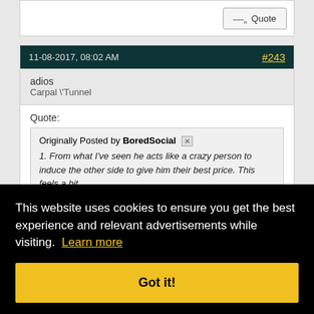Quote button (top right)
11-08-2017, 08:02 AM  #243
adios
Carpal \Tunnel
Quote:
Originally Posted by BoredSocial
1. From what I've seen he acts like a crazy person to induce the other side to give him their best price. This feels a bit like... [truncated by overlay]
This website uses cookies to ensure you get the best experience and relevant advertisements while visiting. Learn more
Got it!
Well if y'all... the worst thing about him is that he doesn't pay his vendors. Maybe it's because I'm a vendor and live